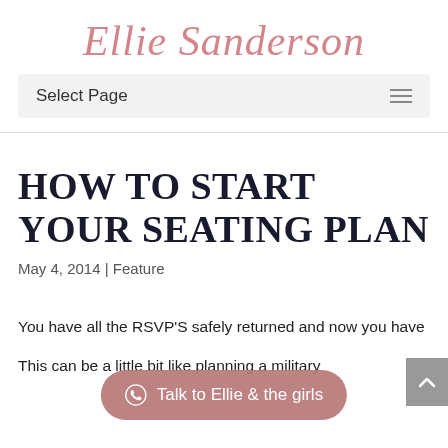Ellie Sanderson
Select Page
HOW TO START YOUR SEATING PLAN
May 4, 2014 | Feature
You have all the RSVP'S safely returned and now you have
This can be a little bit like planning a military
[Figure (other): WhatsApp chat button overlay: Talk to Ellie & the girls]